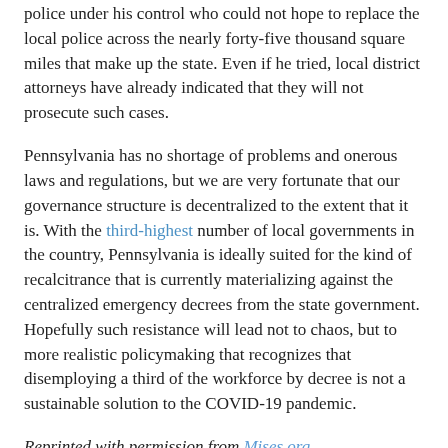police under his control who could not hope to replace the local police across the nearly forty-five thousand square miles that make up the state. Even if he tried, local district attorneys have already indicated that they will not prosecute such cases.
Pennsylvania has no shortage of problems and onerous laws and regulations, but we are very fortunate that our governance structure is decentralized to the extent that it is. With the third-highest number of local governments in the country, Pennsylvania is ideally suited for the kind of recalcitrance that is currently materializing against the centralized emergency decrees from the state government. Hopefully such resistance will lead not to chaos, but to more realistic policymaking that recognizes that disemploying a third of the workforce by decree is not a sustainable solution to the COVID-19 pandemic.
Reprinted with permission from Mises.org.
from Ron Paul Institute Featured Articles